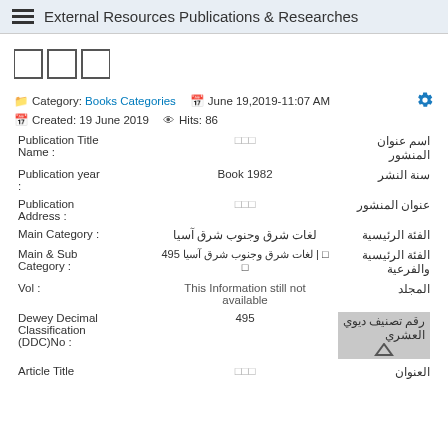External Resources Publications & Researches
[Figure (other): Three small icon boxes]
Category: Books Categories   June 19,2019-11:07 AM   Created: 19 June 2019   Hits: 86
| Publication Title Name : | □□□ | اسم عنوان المنشور |
| --- | --- | --- |
| Publication year : | Book 1982 | سنة النشر |
| Publication Address : | □□□ | عنوان المنشور |
| Main Category : | لغات شرق وجنوب شرق آسيا | الفئة الرئيسية |
| Main & Sub Category : | □ | لغات شرق وجنوب شرق آسيا 495  □ | الفئة الرئيسية والفرعية |
| Vol : | This Information still not available | المجلد |
| Dewey Decimal Classification (DDC)No : | 495 | رقم تصنيف ديوي العشري |
| Article Title | □□□ | العنوان |